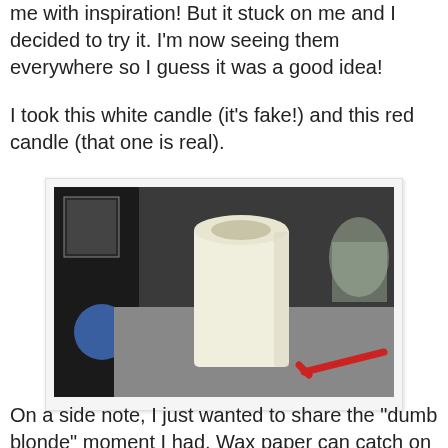me with inspiration! But it stuck on me and I decided to try it. I'm now seeing them everywhere so I guess it was a good idea!
I took this white candle (it's fake!) and this red candle (that one is real).
[Figure (photo): A white cylindrical pillar candle sitting on a gray surface, with a red straw/object lying beside it on the right. Dark shelving and a blue object visible in the background.]
On a side note, I just wanted to share the "dumb blonde" moment I had. Wax paper can catch on fire. YES I'm not THAT dumb - hello, it's wax paper but I really didn't think it